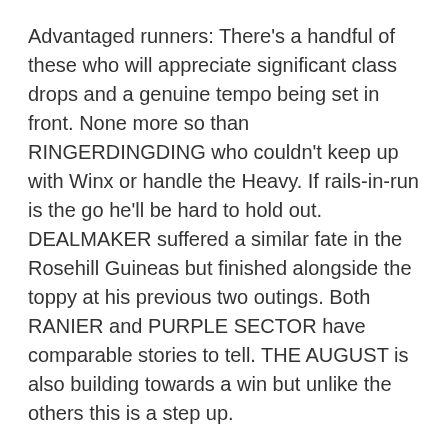Advantaged runners: There's a handful of these who will appreciate significant class drops and a genuine tempo being set in front. None more so than RINGERDINGDING who couldn't keep up with Winx or handle the Heavy. If rails-in-run is the go he'll be hard to hold out. DEALMAKER suffered a similar fate in the Rosehill Guineas but finished alongside the toppy at his previous two outings. Both RANIER and PURPLE SECTOR have comparable stories to tell. THE AUGUST is also building towards a win but unlike the others this is a step up.
RACE 3
Speed map/race shape: Despite the 2000m start